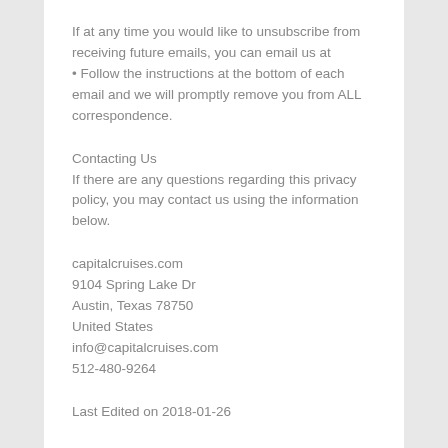If at any time you would like to unsubscribe from receiving future emails, you can email us at
• Follow the instructions at the bottom of each email and we will promptly remove you from ALL correspondence.
Contacting Us
If there are any questions regarding this privacy policy, you may contact us using the information below.
capitalcruises.com
9104 Spring Lake Dr
Austin, Texas 78750
United States
info@capitalcruises.com
512-480-9264
Last Edited on 2018-01-26